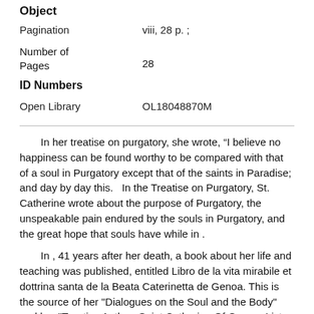Object
| Pagination | viii, 28 p. ; |
| Number of Pages | 28 |
ID Numbers
| Open Library | OL18048870M |
In her treatise on purgatory, she wrote, “I believe no happiness can be found worthy to be compared with that of a soul in Purgatory except that of the saints in Paradise; and day by day this.   In the Treatise on Purgatory, St. Catherine wrote about the purpose of Purgatory, the unspeakable pain endured by the souls in Purgatory, and the great hope that souls have while in .
In , 41 years after her death, a book about her life and teaching was published, entitled Libro de la vita mirabile et dottrina santa de la Beata Caterinetta de Genoa. This is the source of her "Dialogues on the Soul and the Body" and her "Treatise Author: Saint Catherine Of Genoa. Listen to Treatise on Purgatory by Saint Catherine of Genoa,LibriVox Community for free with a 30 day free trial. Listen to unlimited* audiobooks on the web, iPad, iPhone and Android. Saint Catherine of Genoa (Caterina Fieschi Adorno, born Genoa – 15 September ) is an Italian Roman Catholic saint and mystic, admired for her work.